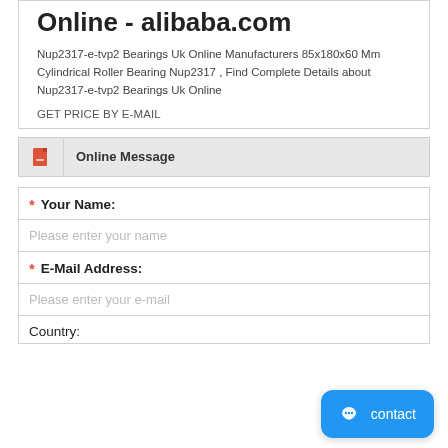Online - alibaba.com
Nup2317-e-tvp2 Bearings Uk Online Manufacturers 85x180x60 Mm Cylindrical Roller Bearing Nup2317 , Find Complete Details about Nup2317-e-tvp2 Bearings Uk Online
GET PRICE BY E-MAIL
Online Message
* Your Name:
Please enter your name
* E-Mail Address:
Please enter your e-mail
Country: